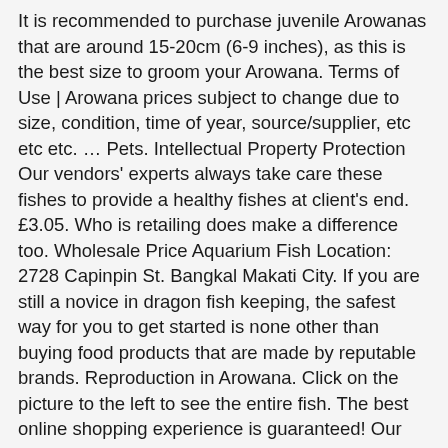It is recommended to purchase juvenile Arowanas that are around 15-20cm (6-9 inches), as this is the best size to groom your Arowana. Terms of Use | Arowana prices subject to change due to size, condition, time of year, source/supplier, etc etc etc. … Pets. Intellectual Property Protection Our vendors' experts always take care these fishes to provide a healthy fishes at client's end. £3.05. Who is retailing does make a difference too. Wholesale Price Aquarium Fish Location: 2728 Capinpin St. Bangkal Makati City. If you are still a novice in dragon fish keeping, the safest way for you to get started is none other than buying food products that are made by reputable brands. Reproduction in Arowana. Click on the picture to the left to see the entire fish. The best online shopping experience is guaranteed! Our Prices. And, for us to do so; the first thing that we must ensure is choosing the right food for them. Mirror Acrylic Aquariums can be made to any size or shape with seamless joints. 5.7K likes. Naomi Osaka roars back to win 2nd U.S. Open title. Mirror Acrylic Aquariums have better insulating properties than glass. Aquarium Fish